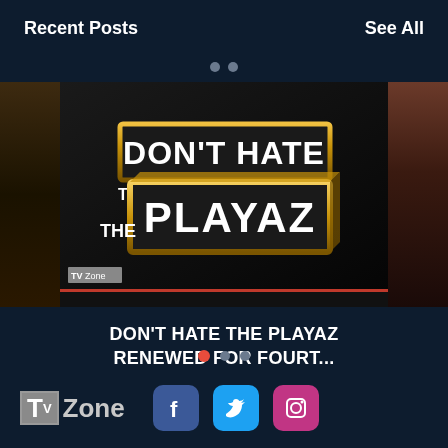Recent Posts
See All
[Figure (screenshot): Mobile app screenshot showing a TV show card for 'Don't Hate the Playaz' with decorative side thumbnails and TVZone watermark]
DON'T HATE THE PLAYAZ RENEWED FOR FOURT...
[Figure (logo): TVZone logo with Facebook, Twitter, and Instagram social media icons]